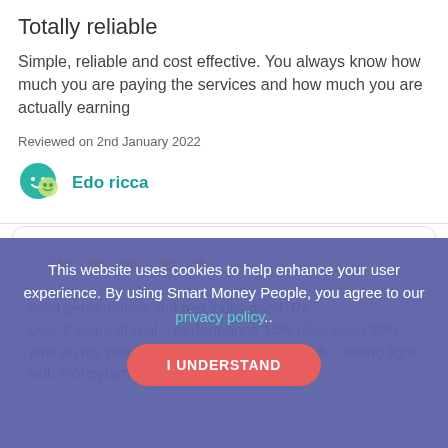Totally reliable
Simple, reliable and cost effective. You always know how much you are paying the services and how much you are actually earning
Reviewed on 2nd April 2022
Edo ricca
[Figure (other): Five orange stars rating in a white pill/badge shape]
solid performance and feel looks good. Re... over 2 years of real... performance 15% plus, even 20% plus on my pension so now there's a dip in th... sitting tight with moneyfarm
This website uses cookies to help enhance your user experience. By using Smart Money People, you agree to our privacy policy..
I UNDERSTAND